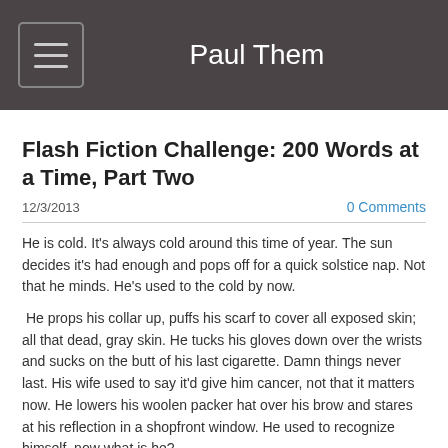Paul Them
Flash Fiction Challenge: 200 Words at a Time, Part Two
12/3/2013
0 Comments
He is cold. It's always cold around this time of year. The sun decides it's had enough and pops off for a quick solstice nap. Not that he minds. He's used to the cold by now.
He props his collar up, puffs his scarf to cover all exposed skin; all that dead, gray skin. He tucks his gloves down over the wrists and sucks on the butt of his last cigarette. Damn things never last. His wife used to say it'd give him cancer, not that it matters now. He lowers his woolen packer hat over his brow and stares at his reflection in a shopfront window. He used to recognize himself, now what is he?
It had all happened so fast; the heart attack; cracking his head on the tile floor; the ethereal sensation that he was losing life, as though it